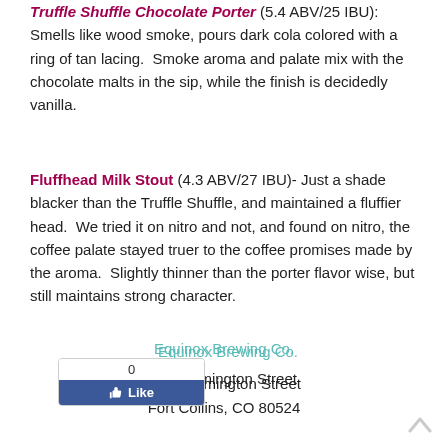Truffle Shuffle Chocolate Porter (5.4 ABV/25 IBU): Smells like wood smoke, pours dark cola colored with a ring of tan lacing.  Smoke aroma and palate mix with the chocolate malts in the sip, while the finish is decidedly vanilla.
Fluffhead Milk Stout (4.3 ABV/27 IBU)- Just a shade blacker than the Truffle Shuffle, and maintained a fluffier head.  We tried it on nitro and not, and found on nitro, the coffee palate stayed truer to the coffee promises made by the aroma.  Slightly thinner than the porter flavor wise, but still maintains strong character.
Equinox Brewing Co.
133 Remington Street
Fort Collins, CO 80524
(970) 484-1368
[Figure (other): Facebook Like button widget showing count 0 and a blue Like button]